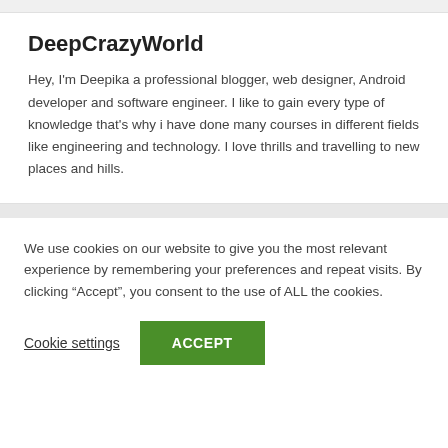DeepCrazyWorld
Hey, I'm Deepika a professional blogger, web designer, Android developer and software engineer. I like to gain every type of knowledge that's why i have done many courses in different fields like engineering and technology. I love thrills and travelling to new places and hills.
We use cookies on our website to give you the most relevant experience by remembering your preferences and repeat visits. By clicking “Accept”, you consent to the use of ALL the cookies.
Cookie settings
ACCEPT